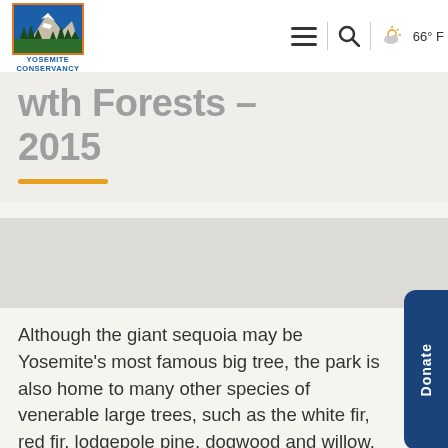Yosemite Conservancy — navigation bar with logo, menu, search, weather 66°F
Yosemite's Old Growth Forests – 2015
Although the giant sequoia may be Yosemite's most famous big tree, the park is also home to many other species of venerable large trees, such as the white fir, red fir, lodgepole pine, dogwood and willow. Studies indicate that many of the region's largest trees are dying off. As these trees become scarcer, the cultural and scientific value of